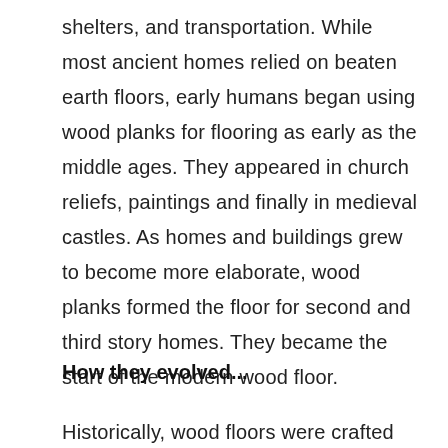shelters, and transportation. While most ancient homes relied on beaten earth floors, early humans began using wood planks for flooring as early as the middle ages. They appeared in church reliefs, paintings and finally in medieval castles. As homes and buildings grew to become more elaborate, wood planks formed the floor for second and third story homes. They became the start of the modern wood floor.
How they evolved...
Historically, wood floors were crafted from old